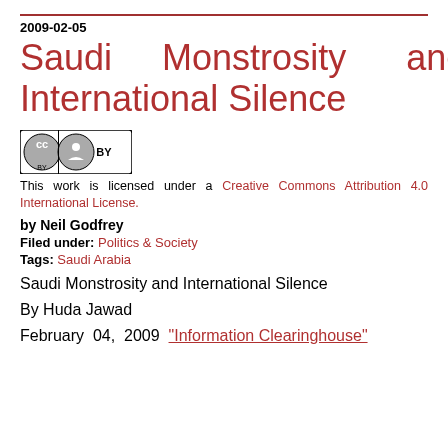2009-02-05
Saudi Monstrosity and International Silence
[Figure (logo): Creative Commons BY license badge — CC circle icon with BY text]
This work is licensed under a Creative Commons Attribution 4.0 International License.
by Neil Godfrey
Filed under: Politics & Society
Tags: Saudi Arabia
Saudi Monstrosity and International Silence
By Huda Jawad
February 04, 2009 “Information Clearinghouse”